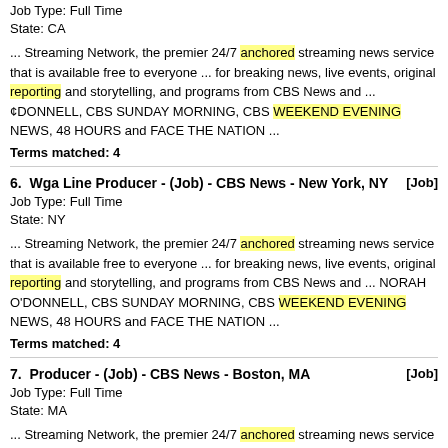Job Type: Full Time
State: CA
... Streaming Network, the premier 24/7 anchored streaming news service that is available free to everyone ... for breaking news, live events, original reporting and storytelling, and programs from CBS News and ... ¢DONNELL, CBS SUNDAY MORNING, CBS WEEKEND EVENING NEWS, 48 HOURS and FACE THE NATION ...
Terms matched: 4
6.  Wga Line Producer - (Job) - CBS News - New York, NY    [Job]
Job Type: Full Time
State: NY
... Streaming Network, the premier 24/7 anchored streaming news service that is available free to everyone ... for breaking news, live events, original reporting and storytelling, and programs from CBS News and ... NORAH O'DONNELL, CBS SUNDAY MORNING, CBS WEEKEND EVENING NEWS, 48 HOURS and FACE THE NATION ...
Terms matched: 4
7.  Producer - (Job) - CBS News - Boston, MA    [Job]
Job Type: Full Time
State: MA
... Streaming Network, the premier 24/7 anchored streaming news service that is available free to everyone ... for breaking news, live events, original reporting and storytelling, and programs from CBS News and ... ¢DONNELL, CBS SUNDAY MORNING, CBS WEEKEND EVENING NEWS, 48 HOURS and FACE THE NATION ...